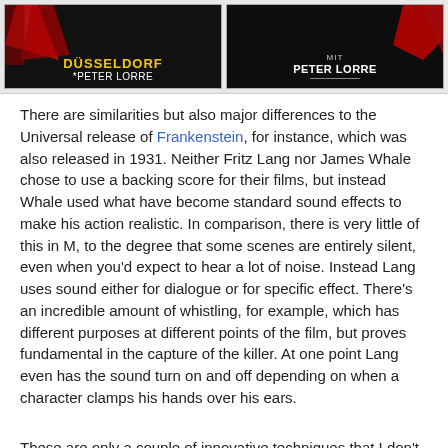[Figure (photo): Two movie poster panels for 'M' featuring Peter Lorre. Left panel shows 'DÜSSELDORF' text in yellow on dark background with 'PETER LORRE' below. Right panel shows 'MIT PETER LORRE' text on dark background with red graphic elements.]
There are similarities but also major differences to the Universal release of Frankenstein, for instance, which was also released in 1931. Neither Fritz Lang nor James Whale chose to use a backing score for their films, but instead Whale used what have become standard sound effects to make his action realistic. In comparison, there is very little of this in M, to the degree that some scenes are entirely silent, even when you'd expect to hear a lot of noise. Instead Lang uses sound either for dialogue or for specific effect. There's an incredible amount of whistling, for example, which has different purposes at different points of the film, but proves fundamental in the capture of the killer. At one point Lang even has the sound turn on and off depending on when a character clamps his hands over his ears.
These are only a couple of innovative techniques that I don't believe had been used before. Another is the way that Fritz Lang parallels discussions, such as when both the police and the underworld leaders, separately but with great